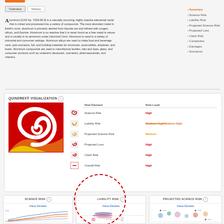Overview  History
Aluminum [CAS No. 7429-90-5] is a naturally occurring, highly reactive elemental metal that is mined and processed into a variety of compounds. The most abundant metal in Earth's crust, aluminum is primarily derived from bauxite ore and refined with oxygen, silicon, and fluorine. Aluminum is so reactive that it is never found as a free metal in nature and is usually in its aluminum oxide ('alumina') form. Aluminum is used in a variety of industrial and consumer settings. Aluminum alloys are used to make food and beverage cans, pots and pans, foil, and building materials for structures, automobiles, airplanes, and boats. Aluminum compounds are used to manufacture textiles, inks and dyes, glass, and consumer products such as underarm deodorant, cosmetics, pharmaceuticals, and vitamins.
Summary
Science Risk
Liability Risk
Projected Science Risk
Projected Loss
Clash Risk
Companies
Damages
Scenarios
QUINDREX® VISUALIZATION
| Risk Element | Risk Level |
| --- | --- |
| Science Risk | High |
| Liability Risk | Medium-High |
| Projected Science Risk | Medium |
| Projected Loss | High |
| Clash Risk | High |
| Overall Risk | High |
[Figure (illustration): Quindrex spiral visualization — a swirling spiral shape in red, orange, and yellow on a red background]
SCIENCE RISK
View Details
[Figure (line-chart): Science risk line chart showing multiple colored trend lines]
LIABILITY RISK
View Details
[Figure (scatter-plot): Liability risk scatter/density plot with dashed circle highlight]
PROJECTED SCIENCE RISK
View Details
[Figure (scatter-plot): Projected science risk dot/bubble chart with colored clusters]